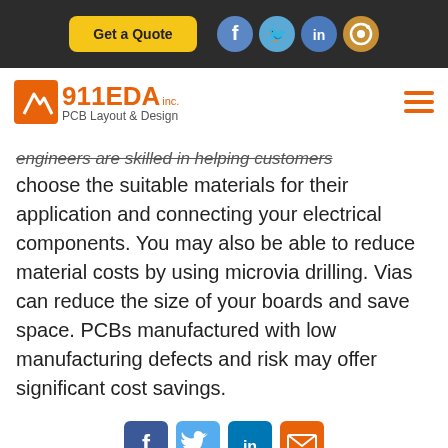[Figure (screenshot): Navigation bar with Get a Quote button and Facebook, Twitter, LinkedIn, Instagram social icons on dark background]
[Figure (logo): 911EDA Inc. PCB Layout & Design logo with orange icon and hamburger menu]
engineers are skilled in helping customers choose the suitable materials for their application and connecting your electrical components. You may also be able to reduce material costs by using microvia drilling. Vias can reduce the size of your boards and save space. PCBs manufactured with low manufacturing defects and risk may offer significant cost savings.
[Figure (screenshot): Bottom social sharing icons: Facebook, Twitter, LinkedIn, Email]